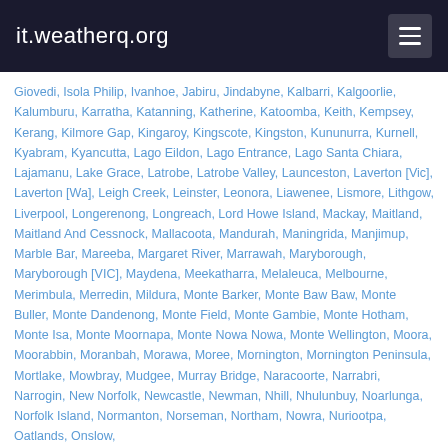it.weatherq.org
Giovedi, Isola Philip, Ivanhoe, Jabiru, Jindabyne, Kalbarri, Kalgoorlie, Kalumburu, Karratha, Katanning, Katherine, Katoomba, Keith, Kempsey, Kerang, Kilmore Gap, Kingaroy, Kingscote, Kingston, Kununurra, Kurnell, Kyabram, Kyancutta, Lago Eildon, Lago Entrance, Lago Santa Chiara, Lajamanu, Lake Grace, Latrobe, Latrobe Valley, Launceston, Laverton [Vic], Laverton [Wa], Leigh Creek, Leinster, Leonora, Liawenee, Lismore, Lithgow, Liverpool, Longerenong, Longreach, Lord Howe Island, Mackay, Maitland, Maitland And Cessnock, Mallacoota, Mandurah, Maningrida, Manjimup, Marble Bar, Mareeba, Margaret River, Marrawah, Maryborough, Maryborough [VIC], Maydena, Meekatharra, Melaleuca, Melbourne, Merimbula, Merredin, Mildura, Monte Barker, Monte Baw Baw, Monte Buller, Monte Dandenong, Monte Field, Monte Gambie, Monte Hotham, Monte Isa, Monte Moornapa, Monte Nowa Nowa, Monte Wellington, Moora, Moorabbin, Moranbah, Morawa, Moree, Mornington, Mornington Peninsula, Mortlake, Mowbray, Mudgee, Murray Bridge, Naracoorte, Narrabri, Narrogin, New Norfolk, Newcastle, Newman, Nhill, Nhulunbuy, Noarlunga, Norfolk Island, Normanton, Norseman, Northam, Nowra, Nuriootpa, Oatlands, Onslow,